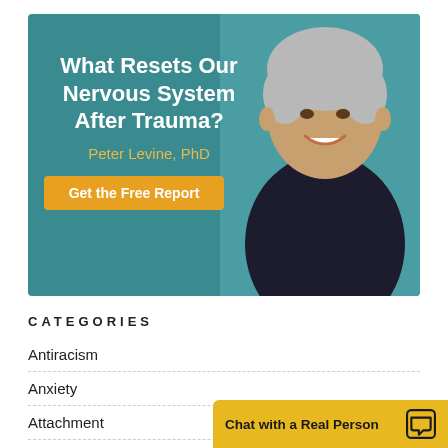[Figure (illustration): Advertisement banner with teal background featuring Peter Levine PhD. Title reads 'What Resets Our Nervous System After Trauma?' with author name in gold and an orange 'Get the Free Report' button. Right side shows photo of a smiling older man in dark shirt.]
CATEGORIES
Antiracism
Anxiety
Attachment
Chat with a Real Person